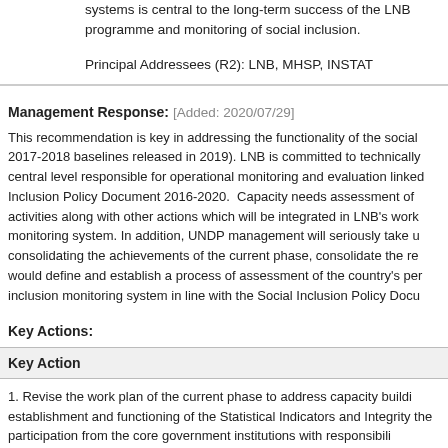systems is central to the long-term success of the LNB programme and monitoring of social inclusion.
Principal Addressees (R2): LNB, MHSP, INSTAT
Management Response: [Added: 2020/07/29]
This recommendation is key in addressing the functionality of the social 2017-2018 baselines released in 2019). LNB is committed to technically central level responsible for operational monitoring and evaluation linked Inclusion Policy Document 2016-2020. Capacity needs assessment of activities along with other actions which will be integrated in LNB's work monitoring system. In addition, UNDP management will seriously take u consolidating the achievements of the current phase, consolidate the re would define and establish a process of assessment of the country's per inclusion monitoring system in line with the Social Inclusion Policy Docu
Key Actions:
| Key Action |
| --- |
| 1. Revise the work plan of the current phase to address capacity buildi establishment and functioning of the Statistical Indicators and Integrity the participation from the core government institutions with responsibili |